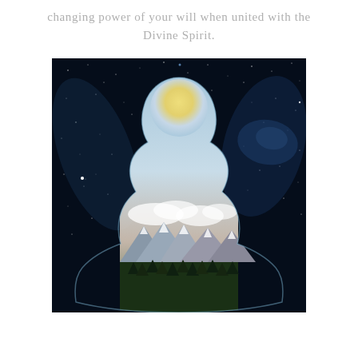changing power of your will when united with the Divine Spirit.
[Figure (illustration): A painting of a faceless human silhouette viewed from behind, with the head glowing like a moon and the body filled with a landscape of mountains, forests, and clouds. The background is a deep dark starry night sky with the Milky Way visible.]